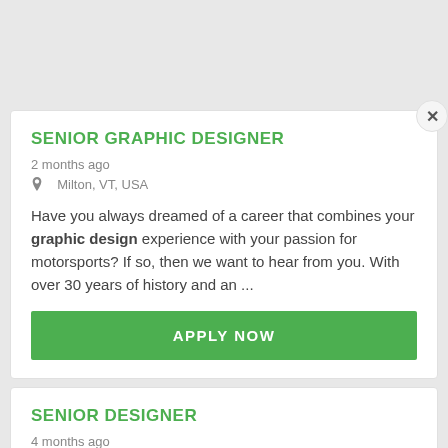SENIOR GRAPHIC DESIGNER
2 months ago
Milton, VT, USA
Have you always dreamed of a career that combines your graphic design experience with your passion for motorsports? If so, then we want to hear from you. With over 30 years of history and an ...
APPLY NOW
SENIOR DESIGNER
4 months ago
Burlington, VT, USA
Fuse is actively seeking a Senior Designer with 5+ years of design